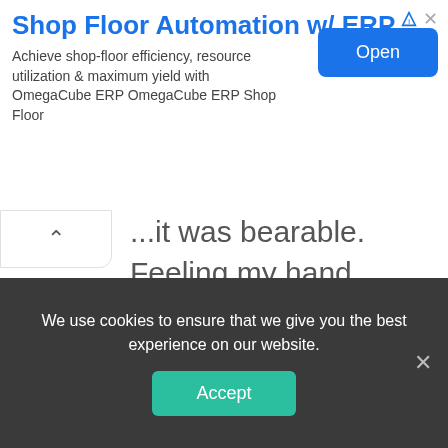[Figure (screenshot): Advertisement banner for Shop Floor Automation with ERP. Title: 'Shop Floor Automation w/ ERP'. Description: 'Achieve shop-floor efficiency, resource utilization & maximum yield with OmegaCube ERP OmegaCube ERP Shop Floor'. Blue 'Open' button on the right.]
...it was bearable. Feeling my hand tightening, Luka asked worried,
“If you are tired, shall we take a break?”
“No, I’m fine.”
Fortunately, the forest wasn’t rough, so
We use cookies to ensure that we give you the best experience on our website.